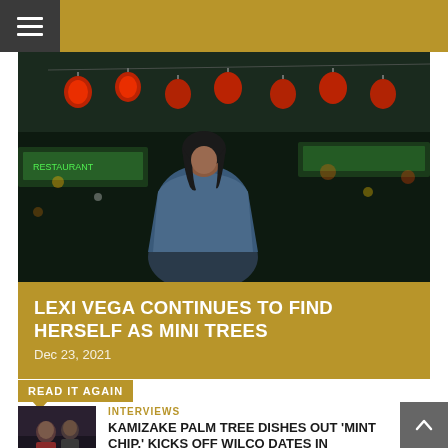≡ (navigation menu bar)
[Figure (photo): Young woman in blue satin jacket standing in front of a Chinatown street scene with red paper lanterns and neon green signs at night]
LEXI VEGA CONTINUES TO FIND HERSELF AS MINI TREES
Dec 23, 2021
READ IT AGAIN
INTERVIEWS
[Figure (photo): Thumbnail photo of two people standing indoors]
KAMIZAKE PALM TREE DISHES OUT 'MINT CHIP,' KICKS OFF WILCO DATES IN COOPERSTOWN